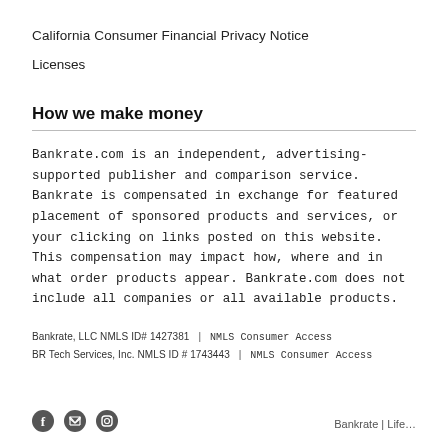California Consumer Financial Privacy Notice
Licenses
How we make money
Bankrate.com is an independent, advertising-supported publisher and comparison service. Bankrate is compensated in exchange for featured placement of sponsored products and services, or your clicking on links posted on this website. This compensation may impact how, where and in what order products appear. Bankrate.com does not include all companies or all available products.
Bankrate, LLC NMLS ID# 1427381  |  NMLS Consumer Access
BR Tech Services, Inc. NMLS ID # 1743443  |  NMLS Consumer Access